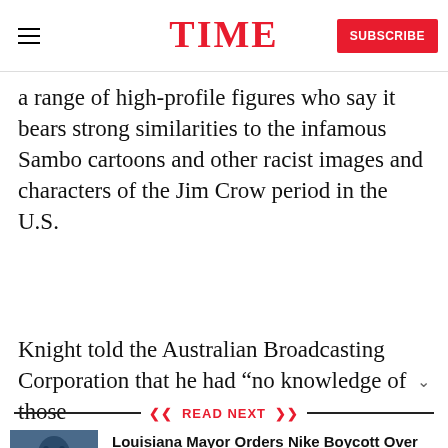TIME | SUBSCRIBE
a range of high-profile figures who say it bears strong similarities to the infamous Sambo cartoons and other racist images and characters of the Jim Crow period in the U.S.
Knight told the Australian Broadcasting Corporation that he had “no knowledge of those
READ NEXT
[Figure (photo): Close-up photo of a man's face, rendered in blue-grey tones]
Louisiana Mayor Orders Nike Boycott Over Kaepernick Ad